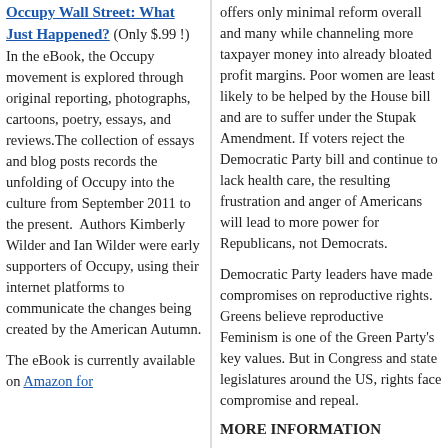Occupy Wall Street: What Just Happened? (Only $.99 !) In the eBook, the Occupy movement is explored through original reporting, photographs, cartoons, poetry, essays, and reviews.The collection of essays and blog posts records the unfolding of Occupy into the culture from September 2011 to the present.  Authors Kimberly Wilder and Ian Wilder were early supporters of Occupy, using their internet platforms to communicate the changes being created by the American Autumn.
The eBook is currently available on Amazon for
offers only minimal reform overall and many while channeling more taxpayer money into already bloated profit margins. Poor women are least likely to be helped by the House bill and are to suffer under the Stupak Amendment. If voters reject the Democratic Party bill and continue to lack health care, the resulting frustration and anger of Americans will lead to more power for Republicans, not Democrats.
Democratic Party leaders have made compromises on reproductive rights. Greens believe reproductive Feminism is one of the Green Party's key values. But in Congress and state legislatures around the US, rights face compromise and repeal.
MORE INFORMATION
“Face it: The Democratic Party is n By Kate Harding, Salon.com, Novemb http://www.salon.com/life/broadsheet
“Health Reform: Implications for W Care” Kaiser Family Foundation, October 2 http://www.kff.org/womenshealth/uplo
Filed under: Action Alert!, activism, election, e